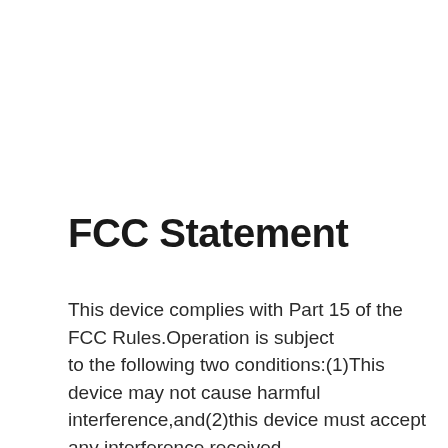FCC Statement
This device complies with Part 15 of the FCC Rules.Operation is subject to the following two conditions:(1)This device may not cause harmful interference,and(2)this device must accept any interference received, including interference that may cause undesired operation.